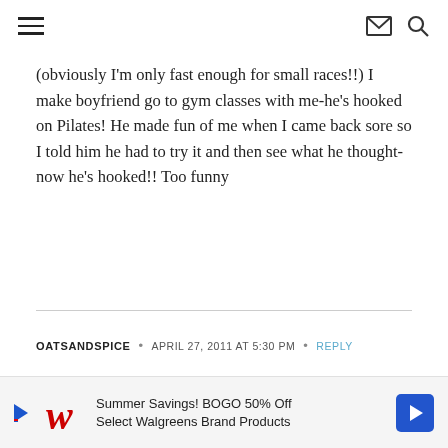Navigation menu, mail icon, search icon
(obviously I'm only fast enough for small races!!) I make boyfriend go to gym classes with me-he's hooked on Pilates! He made fun of me when I came back sore so I told him he had to try it and then see what he thought-now he's hooked!! Too funny
OATSANDSPICE • APRIL 27, 2011 AT 5:30 PM • REPLY
In my emergency food stash I have a bunch of